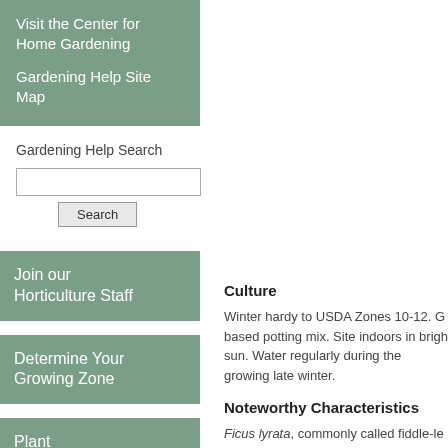Visit the Center for Home Gardening
Gardening Help Site Map
Gardening Help Search
Join our Horticulture Staff
Determine Your Growing Zone
Plant Finder
Culture
Winter hardy to USDA Zones 10-12. G based potting mix. Site indoors in brigh sun. Water regularly during the growing late winter.
Noteworthy Characteristics
Ficus lyrata, commonly called fiddle-le evergreen tree that may grow to 60-100 tropics as an ornamental shade tree. In c grows to 2-10' tall. It is noted for its lar